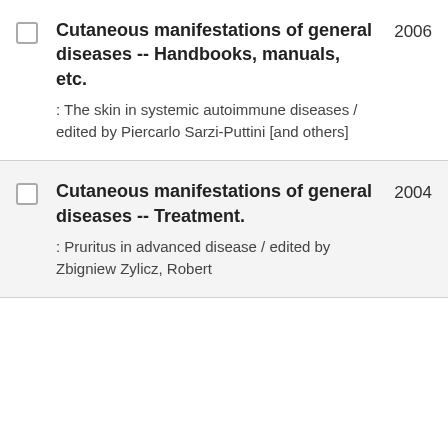Cutaneous manifestations of general diseases -- Handbooks, manuals, etc. : The skin in systemic autoimmune diseases / edited by Piercarlo Sarzi-Puttini [and others]
Cutaneous manifestations of general diseases -- Treatment. : Pruritus in advanced disease / edited by Zbigniew Zylicz, Robert